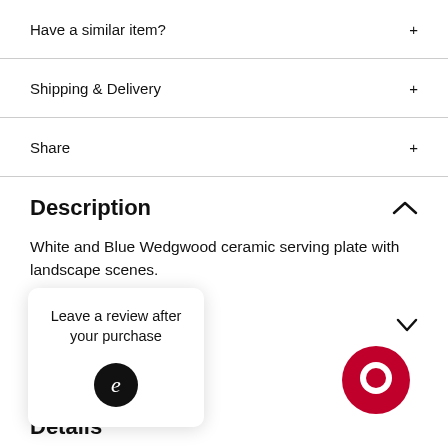Have a similar item?
Shipping & Delivery
Share
Description
White and Blue Wedgwood ceramic serving plate with landscape scenes.
Leave a review after your purchase
seller
on
Details